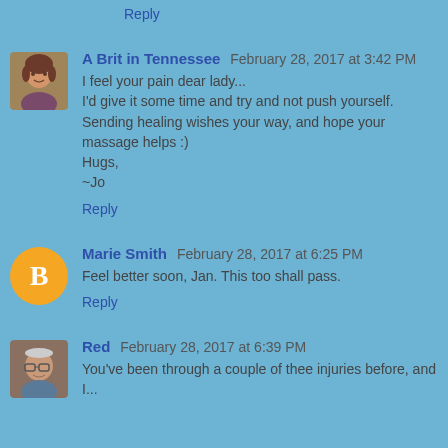Reply
[Figure (photo): Avatar photo of A Brit in Tennessee - woman with shoulder-length hair]
A Brit in Tennessee  February 28, 2017 at 3:42 PM
I feel your pain dear lady...
I'd give it some time and try and not push yourself.
Sending healing wishes your way, and hope your massage helps :)
Hugs,
~Jo
Reply
[Figure (logo): Blogger orange circle logo with white B]
Marie Smith  February 28, 2017 at 6:25 PM
Feel better soon, Jan. This too shall pass.
Reply
[Figure (photo): Avatar photo of Red - older man]
Red  February 28, 2017 at 6:39 PM
You've been through a couple of thee injuries before, and I...